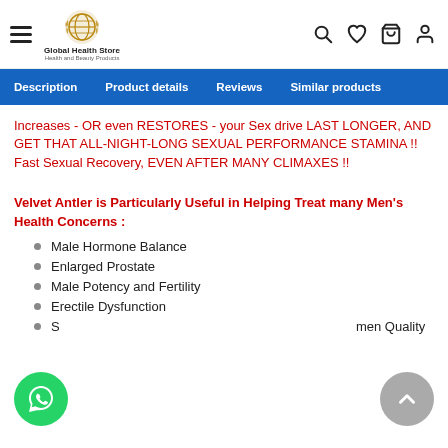Global Health Store — Health and Beauty Products
Description | Product details | Reviews | Similar products
Increases - OR even RESTORES - your Sex drive LAST LONGER, AND GET THAT ALL-NIGHT-LONG SEXUAL PERFORMANCE STAMINA !! Fast Sexual Recovery, EVEN AFTER MANY CLIMAXES !!
Velvet Antler is Particularly Useful in Helping Treat many Men's Health Concerns :
Male Hormone Balance
Enlarged Prostate
Male Potency and Fertility
Erectile Dysfunction
Semen Quality